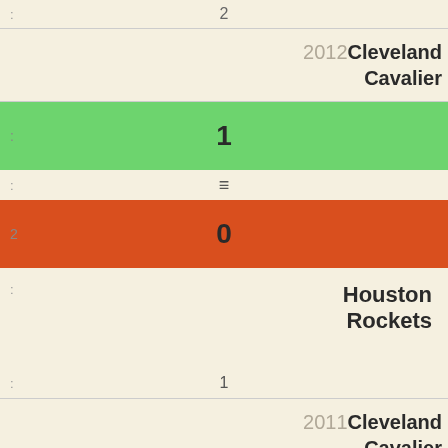2 (top strip)
2012 Cleveland Cavaliers
[Figure (bar-chart): 2012 Cleveland Cavaliers - Win bar]
=
[Figure (bar-chart): 2012 Cleveland Cavaliers - Loss bar]
Houston Rockets
1
2011 Cleveland Cavaliers
[Figure (bar-chart): 2011 Cleveland Cavaliers - Loss bar]